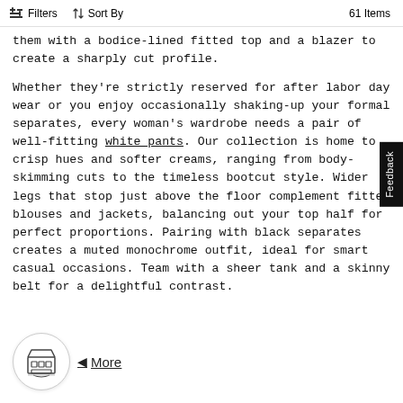Filters   Sort By   61 Items
them with a bodice-lined fitted top and a blazer to create a sharply cut profile.
Whether they're strictly reserved for after labor day wear or you enjoy occasionally shaking-up your formal separates, every woman's wardrobe needs a pair of well-fitting white pants. Our collection is home to crisp hues and softer creams, ranging from body-skimming cuts to the timeless bootcut style. Wider legs that stop just above the floor complement fitted blouses and jackets, balancing out your top half for perfect proportions. Pairing with black separates creates a muted monochrome outfit, ideal for smart casual occasions. Team with a sheer tank and a skinny belt for a delightful contrast.
More